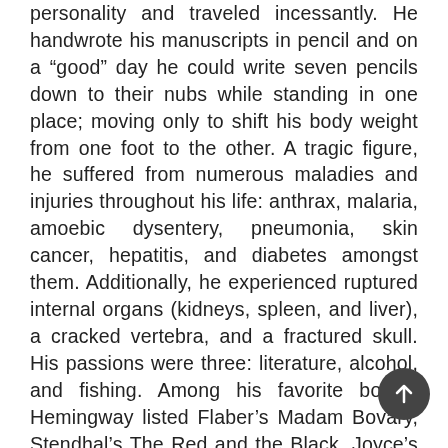personality and traveled incessantly. He handwrote his manuscripts in pencil and on a “good” day he could write seven pencils down to their nubs while standing in one place; moving only to shift his body weight from one foot to the other. A tragic figure, he suffered from numerous maladies and injuries throughout his life: anthrax, malaria, amoebic dysentery, pneumonia, skin cancer, hepatitis, and diabetes amongst them. Additionally, he experienced ruptured internal organs (kidneys, spleen, and liver), a cracked vertebra, and a fractured skull. His passions were three: literature, alcohol, and fishing. Among his favorite books, Hemingway listed Flaber’s Madam Bovary, Stendhal’s The Red and the Black, Joyce’s Dubliners, Tolstoy’s Anna Karenina, and Dostoyevsky’s The Brothers Karamazov as must-reads for all. THE NOVELS THE TORRENTS OF SPRING THE SUN ALSO RISES A FAREWELL TO ARMS TO HAVE AND HAVE NOT FOR WHOM THE BELL TOLLS ACROSS THE RIVER AND INTO